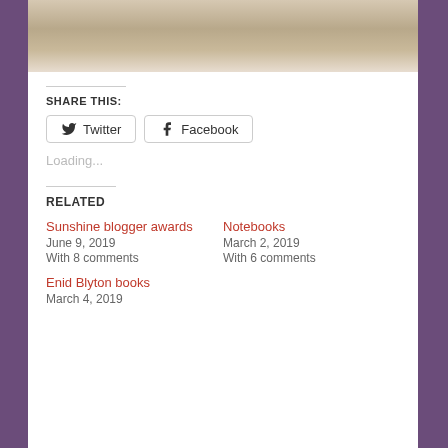[Figure (photo): Photo of a person lying in bed with white pillows and bedding, partially cropped at top of page]
SHARE THIS:
Twitter
Facebook
Loading...
RELATED
Sunshine blogger awards
June 9, 2019
With 8 comments
Notebooks
March 2, 2019
With 6 comments
Enid Blyton books
March 4, 2019